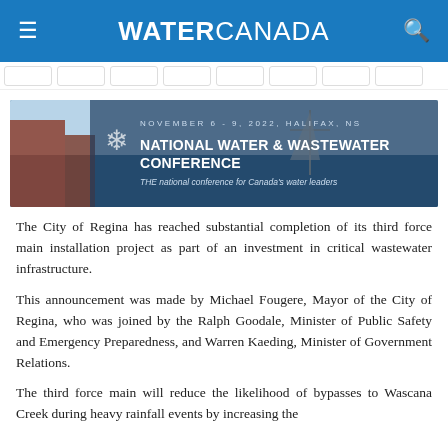WATER CANADA
[Figure (screenshot): Banner image for National Water & Wastewater Conference, November 6-9 2022, Halifax NS, with harbour background. Text: 'NATIONAL WATER & WASTEWATER CONFERENCE — THE national conference for Canada's water leaders']
The City of Regina has reached substantial completion of its third force main installation project as part of an investment in critical wastewater infrastructure.
This announcement was made by Michael Fougere, Mayor of the City of Regina, who was joined by the Ralph Goodale, Minister of Public Safety and Emergency Preparedness, and Warren Kaeding, Minister of Government Relations.
The third force main will reduce the likelihood of bypasses to Wascana Creek during heavy rainfall events by increasing the